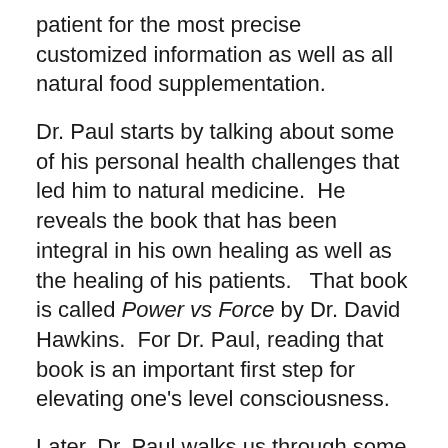patient for the most precise customized information as well as all natural food supplementation.
Dr. Paul starts by talking about some of his personal health challenges that led him to natural medicine.  He reveals the book that has been integral in his own healing as well as the healing of his patients.   That book is called Power vs Force by Dr. David Hawkins.  For Dr. Paul, reading that book is an important first step for elevating one's level consciousness.
Later, Dr. Paul walks us through some of his key healing techniques.  The first is muscle testing.  Dr. Paul explains that applied kinesiology is an incredibly